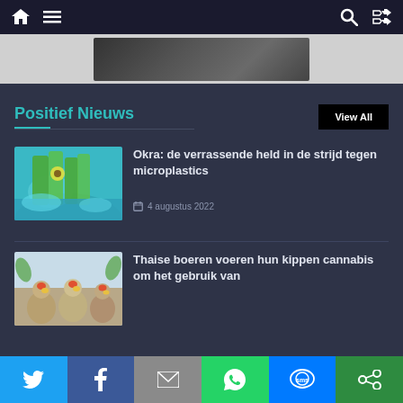Navigation bar with home, menu, search and shuffle icons
[Figure (photo): Partial hero image visible at top, dark blurred photo]
Positief Nieuws
View All
[Figure (photo): Okra vegetables held over water with splashing blue water]
Okra: de verrassende held in de strijd tegen microplastics
4 augustus 2022
[Figure (photo): Three chickens/roosters with colorful plumage on light blue background]
Thaise boeren voeren hun kippen cannabis om het gebruik van
Social sharing bar with Twitter, Facebook, Email, WhatsApp, SMS, and other icons